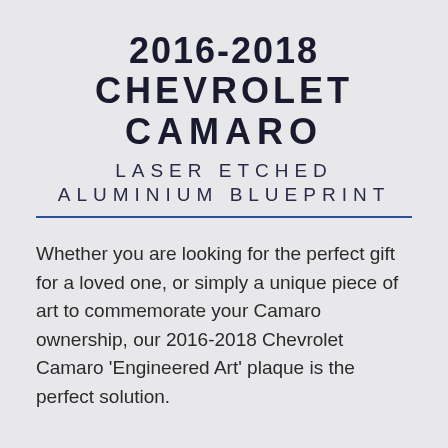2016-2018 CHEVROLET CAMARO LASER ETCHED ALUMINIUM BLUEPRINT
Whether you are looking for the perfect gift for a loved one, or simply a unique piece of art to commemorate your Camaro ownership, our 2016-2018 Chevrolet Camaro 'Engineered Art' plaque is the perfect solution.